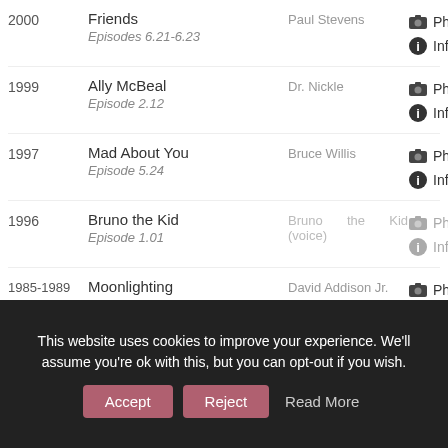2000 | Friends | Episodes 6.21-6.23 | Paul Stevens | Photos | Info
1999 | Ally McBeal | Episode 2.12 | Dr. Nickle | Photos | Info
1997 | Mad About You | Episode 5.24 | Bruce Willis | Photos | Info
1996 | Bruno the Kid | Episode 1.01 | Bruno the Kid (voice) | Photos | Info
1985-1989 | Moonlighting | Series Regular | David Addison Jr. | Photos | Info
This website uses cookies to improve your experience. We'll assume you're ok with this, but you can opt-out if you wish. Accept Reject Read More